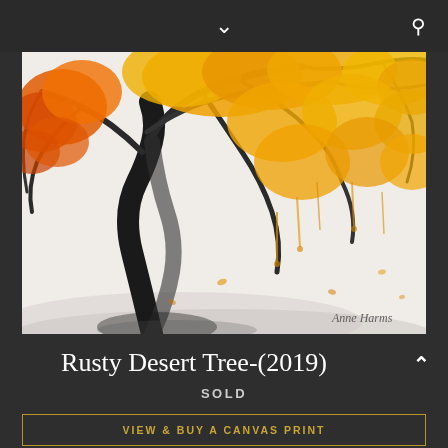[Figure (illustration): Painting of an autumn tree with orange and yellow foliage, dark twisted trunk and branches, white/grey snowy ground, dripping paint effect on leaves, artist signature bottom right]
Rusty Desert Tree-(2019)
SOLD
VIEW & BUY A CANVAS PRINT